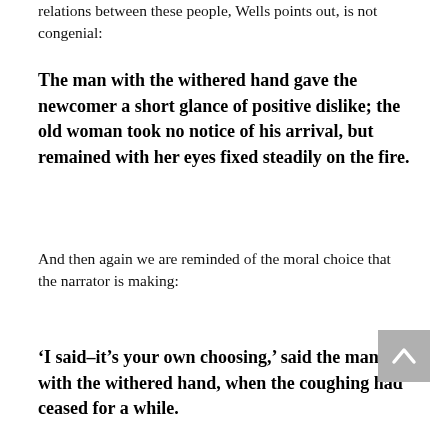relations between these people, Wells points out, is not congenial:
The man with the withered hand gave the newcomer a short glance of positive dislike; the old woman took no notice of his arrival, but remained with her eyes fixed steadily on the fire.
And then again we are reminded of the moral choice that the narrator is making:
‘I said–it’s your own choosing,’ said the man with the withered hand, when the coughing had ceased for a while.